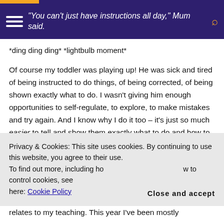"You can't just have instructions all day," Mum said.
*ding ding ding* *lightbulb moment*
Of course my toddler was playing up! He was sick and tired of being instructed to do things, of being corrected, of being shown exactly what to do. I wasn't giving him enough opportunities to self-regulate, to explore, to make mistakes and try again. And I know why I do it too – it's just so much easier to tell and show them exactly what to do and how to do it. It's quicker, it involves less mess,
Privacy & Cookies: This site uses cookies. By continuing to use this website, you agree to their use.
To find out more, including how to control cookies, see here: Cookie Policy
relates to my teaching. This year I've been mostly